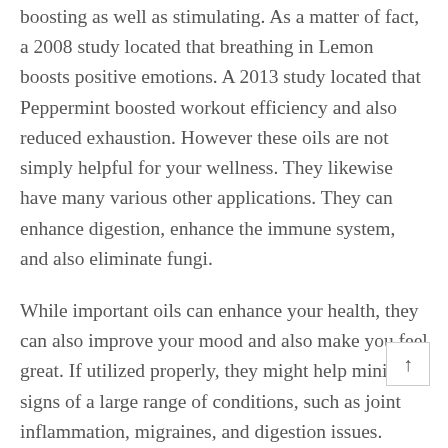boosting as well as stimulating. As a matter of fact, a 2008 study located that breathing in Lemon boosts positive emotions. A 2013 study located that Peppermint boosted workout efficiency and also reduced exhaustion. However these oils are not simply helpful for your wellness. They likewise have many various other applications. They can enhance digestion, enhance the immune system, and also eliminate fungi.
While important oils can enhance your health, they can also improve your mood and also make you feel great. If utilized properly, they might help minimize signs of a large range of conditions, such as joint inflammation, migraines, and digestion issues. Speak to an expert to learn more about the benefits of vital oils for your particular problem. Some business are also able to offer you with an overview that will assist you make the